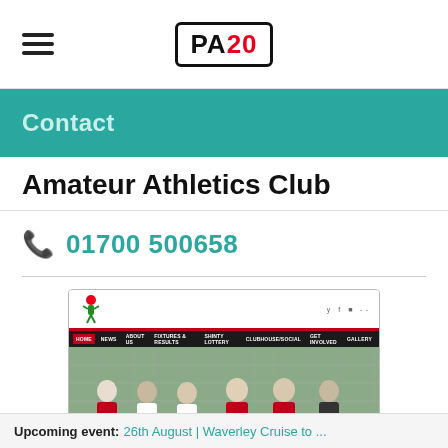PA20
Contact
Amateur Athletics Club
01700 500658
[Figure (screenshot): Screenshot of a sports club website homepage showing a logo, navigation bar with HOME, NEWS, ABOUT US, FIXTURES & RESULTS, SHINTY LOTTERY, CLUBHOUSE/SOCIAL, GET INVOLVED, GALLERY, and a team photo of people in sports gear behind a fence.]
Upcoming event: 26th August | Waverley Cruise to ...